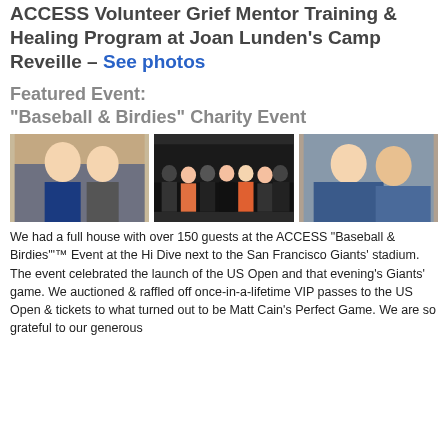ACCESS Volunteer Grief Mentor Training & Healing Program at Joan Lunden's Camp Reveille – See photos
Featured Event: "Baseball & Birdies" Charity Event
[Figure (photo): Three event photos side by side: two smiling women, a group of people at an event, and a man and woman posing together]
We had a full house with over 150 guests at the ACCESS "Baseball & Birdies"™ Event at the Hi Dive next to the San Francisco Giants' stadium. The event celebrated the launch of the US Open and that evening's Giants' game. We auctioned & raffled off once-in-a-lifetime VIP passes to the US Open & tickets to what turned out to be Matt Cain's Perfect Game. We are so grateful to our generous